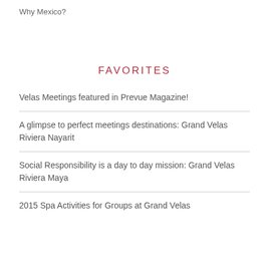Why Mexico?
FAVORITES
Velas Meetings featured in Prevue Magazine!
A glimpse to perfect meetings destinations: Grand Velas Riviera Nayarit
Social Responsibility is a day to day mission: Grand Velas Riviera Maya
2015 Spa Activities for Groups at Grand Velas